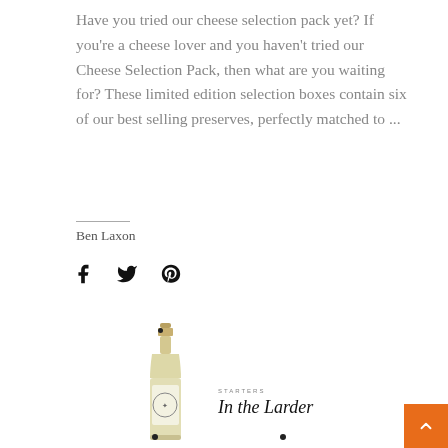Have you tried our cheese selection pack yet? If you're a cheese lover and you haven't tried our Cheese Selection Pack, then what are you waiting for? These limited edition selection boxes contain six of our best selling preserves, perfectly matched to ...
Ben Laxon
[Figure (illustration): Social share icons: Facebook, Twitter, Pinterest]
[Figure (illustration): Bottom section with bottle image, 'STARTERS' label and 'In the Larder' heading, back-to-top orange button with upward arrow]